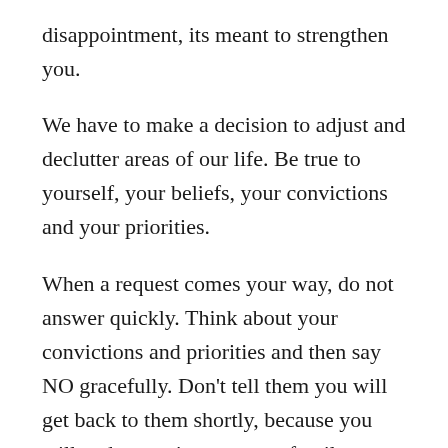disappointment, its meant to strengthen you.
We have to make a decision to adjust and declutter areas of our life.  Be true to yourself, your beliefs, your convictions and your priorities.
When a request comes your way, do not answer quickly.  Think about your convictions and priorities and then say NO gracefully. Don’t tell them you will get back to them shortly, because you will end up saying yes out of guilt.
Remember to stay firm but polite.  No other explanation is really necessary.  If you feel obligated to say something then say: “It just does not fit into